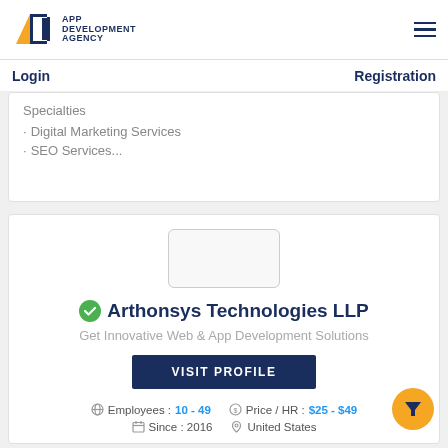APP DEVELOPMENT AGENCY
Login    Registration
Specialties
Digital Marketing Services
SEO Services...
[Figure (other): Company logo placeholder box (empty rounded rectangle)]
Arthonsys Technologies LLP
Get Innovative Web & App Development Solutions
VISIT PROFILE
Employees : 10 - 49   Price / HR : $25 - $49   Since : 2016   United States